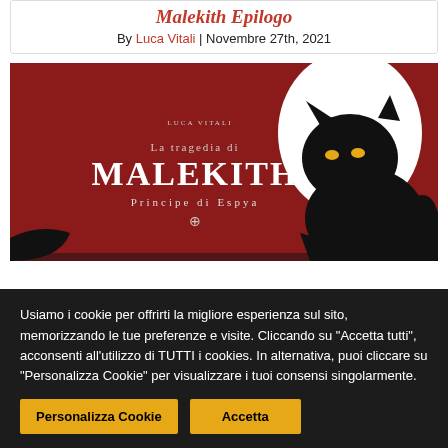Malekith Epilogo
By Luca Vitali | Novembre 27th, 2021
[Figure (illustration): Book cover for 'La Tragedia di Malekith Principe di Espya' by Luca Vitali. Dark red background with a large black panther silhouette with glowing yellow eyes on the right, and white circular shape behind it. Text in white/silver: 'Luca Vitali', 'La Tragedia di', 'MALEKITH', 'Principe di Espya' with a small decorative symbol.]
Usiamo i cookie per offrirti la migliore esperienza sul sito, memorizzando le tue preferenze e visite. Cliccando su "Accetta tutti", acconsenti all'utilizzo di TUTTI i cookies. In alternativa, puoi cliccare su "Personalizza Cookie" per visualizzare i tuoi consensi singolarmente.
Personalizza Cookie
Accetta